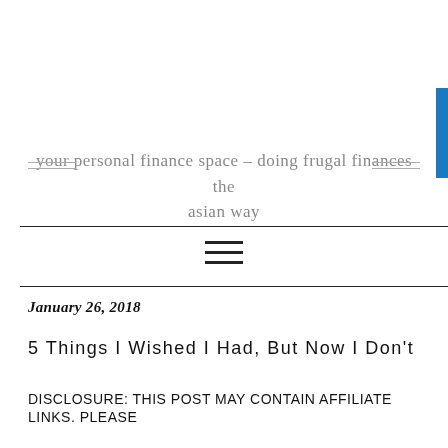your personal finance space – doing frugal finances the asian way
January 26, 2018
5 Things I Wished I Had, But Now I Don't
DISCLOSURE: THIS POST MAY CONTAIN AFFILIATE LINKS. PLEASE